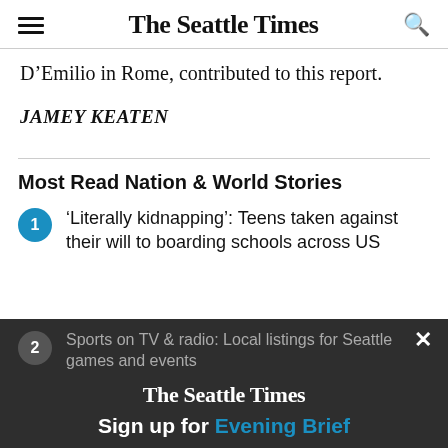The Seattle Times
D’Emilio in Rome, contributed to this report.
JAMEY KEATEN
Most Read Nation & World Stories
1. ‘Literally kidnapping’: Teens taken against their will to boarding schools across US
2. Sports on TV & radio: Local listings for Seattle games and events
The Seattle Times
Sign up for Evening Brief